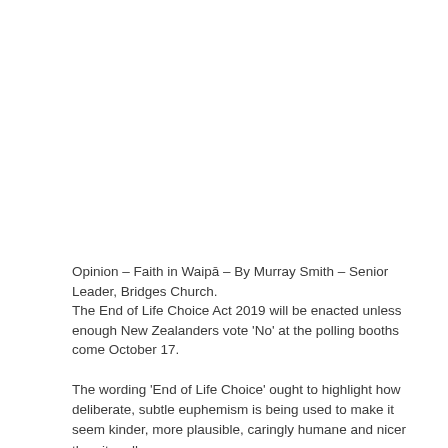Opinion – Faith in Waipā – By Murray Smith – Senior Leader, Bridges Church.
The End of Life Choice Act 2019 will be enacted unless enough New Zealanders vote 'No' at the polling booths come October 17.
The wording 'End of Life Choice' ought to highlight how deliberate, subtle euphemism is being used to make it seem kinder, more plausible, caringly humane and nicer than it really